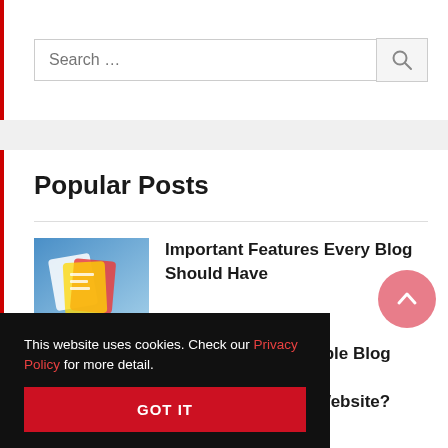[Figure (screenshot): Search input bar with a search icon button on the right, partial top of sidebar widget]
Popular Posts
[Figure (illustration): Thumbnail image for blog post: colorful illustration with design/content elements on blue background]
Important Features Every Blog Should Have
[Figure (illustration): Thumbnail image for second blog post: white background with text referencing Multiple Blog Pages]
How to Create Multiple Blog Pages in a Single WordPress Website?
ur Blog For st!)
[Figure (other): Scroll-to-top circular button with upward chevron arrow, pink/salmon color]
This website uses cookies. Check our Privacy Policy for more detail.
GOT IT